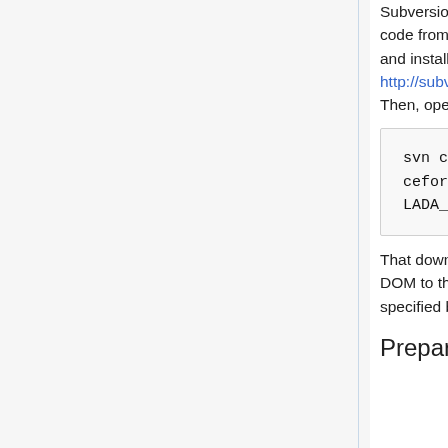Subversion repository on SourceForge. To grab the code from Subversion, you'll first need to download and install a Subversion client for your platform from http://subversion.tigris.org/project_packages.html. Then, open a console and run the command:
svn co https://collada-dom.svn.sourceforge.net/svnroot/collada-dom/COLLADA_DOM/trunk COLLADA_DOM
That downloads the latest copy of the COLLADA DOM to the COLLADA_DOM subdirectory (as specified by the last parameter).
Preparing the External Libraries